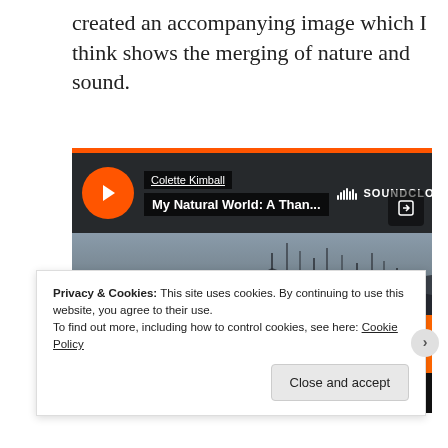created an accompanying image which I think shows the merging of nature and sound.
[Figure (screenshot): An embedded SoundCloud audio player widget showing a track by Colette Kimball titled 'My Natural World: A Than...' with a mountain/nature background image, an orange 'Play on SoundCloud' button, and the SoundCloud logo. The player has an orange top bar, a black semi-transparent header with play button, artist name, track title, and share icon.]
Privacy & Cookies: This site uses cookies. By continuing to use this website, you agree to their use.
To find out more, including how to control cookies, see here: Cookie Policy
Close and accept